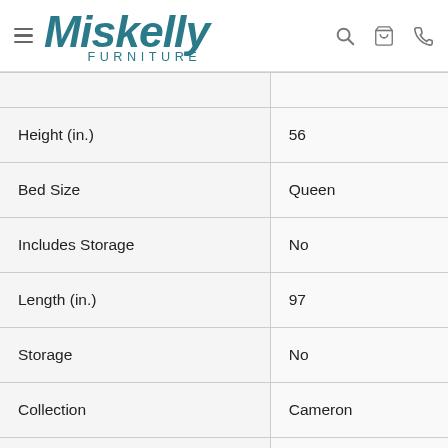Miskelly Furniture
| Attribute | Value |
| --- | --- |
|  |  |
| Height (in.) | 56 |
| Bed Size | Queen |
| Includes Storage | No |
| Length (in.) | 97 |
| Storage | No |
| Collection | Cameron |
|  |  |